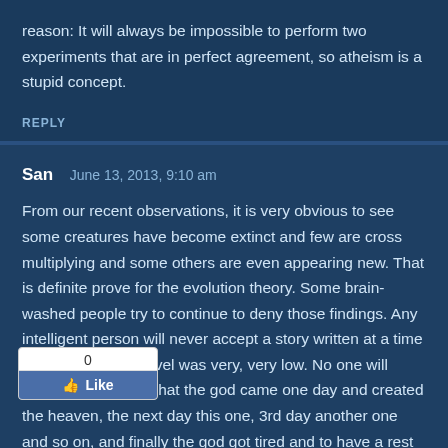reason: It will always be impossible to perform two experiments that are in perfect agreement, so atheism is a stupid concept.
REPLY
San   June 13, 2013, 9:10 am
From our recent observations, it is very obvious to see some creatures have become extinct and few are cross multiplying and some others are even appearing new. That is definite prove for the evolution theory. Some brain-washed people try to continue to deny those findings. Any intelligent person will never accept a story written at a time when the literacy level was very, very low. No one will believe if one says that the god came one day and created the heaven, the next day this one, 3rd day another one and so on, and finally the god got tired and to have a rest on the 7th day! Millions and millions of go, there were no Mr. & Mrs. Man, Mr. & Mrs. Lion, Mr. &